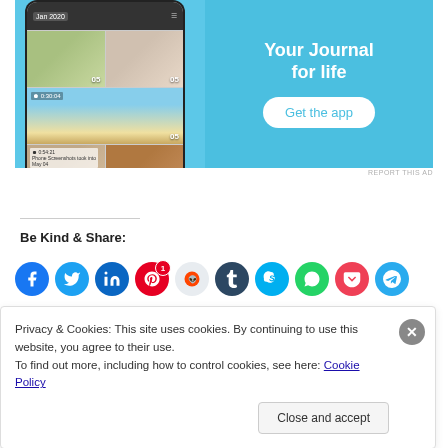[Figure (screenshot): App advertisement banner with phone mockup showing a photo journal app interface. Text reads 'Your Journal for life' with a 'Get the app' button on a blue background.]
REPORT THIS AD
Be Kind & Share:
[Figure (infographic): Row of social media sharing icon buttons: Facebook, Twitter, LinkedIn, Pinterest (with badge '1'), Reddit, Tumblr, Skype, WhatsApp, Pocket, Telegram]
Privacy & Cookies: This site uses cookies. By continuing to use this website, you agree to their use.
To find out more, including how to control cookies, see here: Cookie Policy
Close and accept